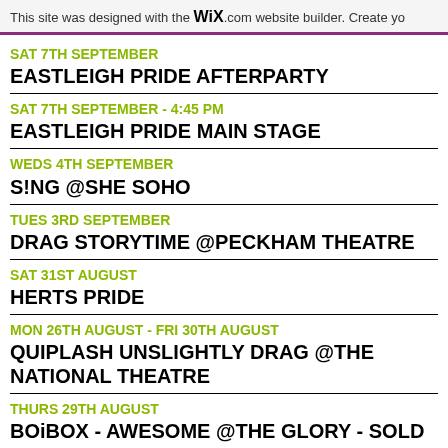This site was designed with the WiX.com website builder. Create yo
SAT 7TH SEPTEMBER
EASTLEIGH PRIDE AFTERPARTY
SAT 7TH SEPTEMBER - 4:45 PM
EASTLEIGH PRIDE MAIN STAGE
WEDS 4TH SEPTEMBER
S!NG @SHE SOHO
TUES 3RD SEPTEMBER
DRAG STORYTIME @PECKHAM THEATRE
SAT 31ST AUGUST
HERTS PRIDE
MON 26TH AUGUST - FRI 30TH AUGUST
QUIPLASH UNSLIGHTLY DRAG @THE NATIONAL THEATRE
THURS 29TH AUGUST
BOiBOX - AWESOME @THE GLORY - SOLD OUT